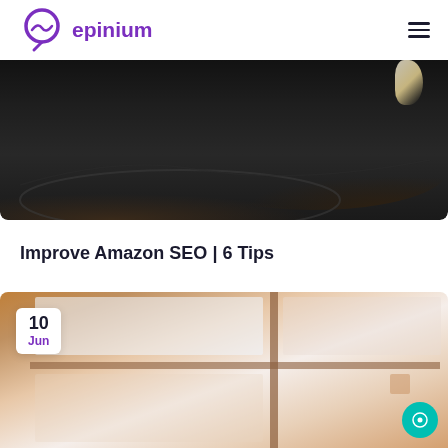epinium
[Figure (photo): Dark background photo, likely a light bulb or product shot, mostly black with some golden highlight in top right corner]
Improve Amazon SEO | 6 Tips
[Figure (photo): Photo showing a window with wooden frames, warm brownish tones, with a white date badge showing '10 Jun' in the top left corner. A teal chat button is visible in the bottom right.]